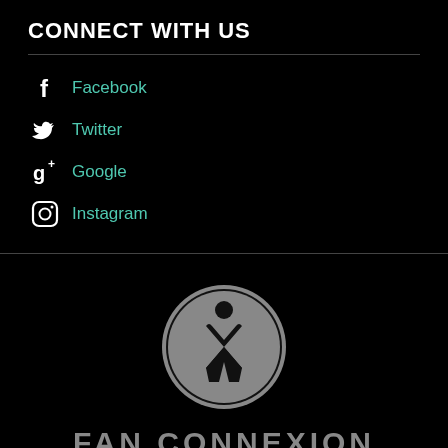CONNECT WITH US
Facebook
Twitter
Google
Instagram
[Figure (logo): Fan Connexion circular logo with stylized X figure and brand name below]
FAN CONNEXION